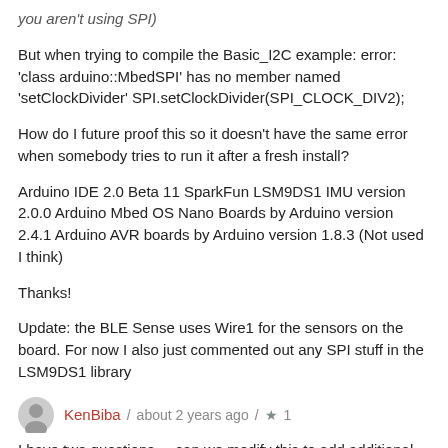you aren't using SPI)
But when trying to compile the Basic_I2C example: error: 'class arduino::MbedSPI' has no member named 'setClockDivider' SPI.setClockDivider(SPI_CLOCK_DIV2);
How do I future proof this so it doesn't have the same error when somebody tries to run it after a fresh install?
Arduino IDE 2.0 Beta 11 SparkFun LSM9DS1 IMU version 2.0.0 Arduino Mbed OS Nano Boards by Arduino version 2.4.1 Arduino AVR boards by Arduino version 1.8.3 (Not used I think)
Thanks!
Update: the BLE Sense uses Wire1 for the sensors on the board. For now I also just commented out any SPI stuff in the LSM9DS1 library
KenBiba / about 2 years ago / ★ 1
I have two questions ... can we modify this to add additional serial, I2C or SPI ports?
How does it get powered by a 3.7v LiPo?